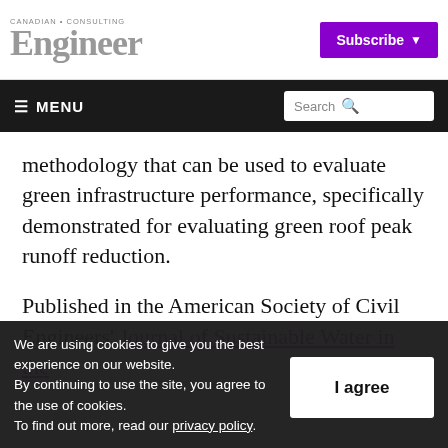CANADIAN CONSULTING Engineer — Subscribe
≡ MENU  Search
methodology that can be used to evaluate green infrastructure performance, specifically demonstrated for evaluating green roof peak runoff reduction.
Published in the American Society of Civil Engineers' Journal of Sustainable Water in the
We are using cookies to give you the best experience on our website. By continuing to use the site, you agree to the use of cookies. To find out more, read our privacy policy.